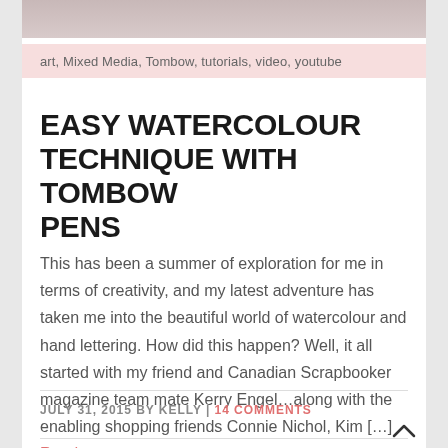[Figure (photo): Partial photo strip at top showing art supplies/pens, cropped view]
art, Mixed Media, Tombow, tutorials, video, youtube
EASY WATERCOLOUR TECHNIQUE WITH TOMBOW PENS
This has been a summer of exploration for me in terms of creativity, and my latest adventure has taken me into the beautiful world of watercolour and hand lettering. How did this happen? Well, it all started with my friend and Canadian Scrapbooker magazine team mate Kerry Engel…along with the enabling shopping friends Connie Nichol, Kim […] Read more...
JULY 31, 2015 BY KELLY | 14 COMMENTS